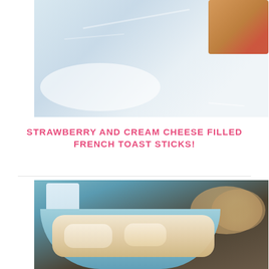[Figure (photo): Top portion of a food photo showing a pastry/french toast stick with red filling on a light blue/white plate with powdered sugar]
STRAWBERRY AND CREAM CHEESE FILLED FRENCH TOAST STICKS!
[Figure (photo): Close-up photo of food items (likely ice cream or cream-topped dessert) in a light blue bowl, with blurred background showing a glass and round baked items on a dark wooden surface]